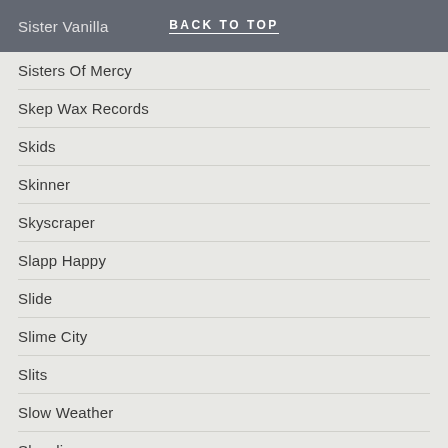Sister Vanilla | BACK TO TOP
Sisters Of Mercy
Skep Wax Records
Skids
Skinner
Skyscraper
Slapp Happy
Slide
Slime City
Slits
Slow Weather
Slowdive
Sluts of Trust